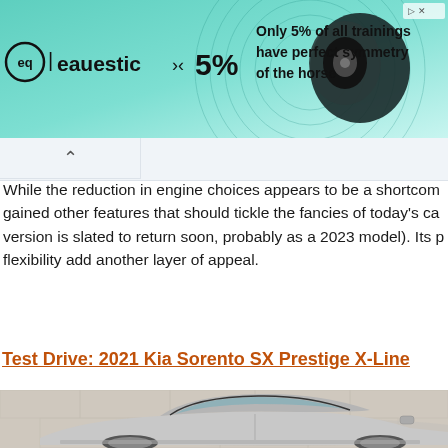[Figure (illustration): Advertisement banner for 'eauestic' brand showing earbuds, teal gradient background, '5%' text, and copy reading 'Only 5% of all trainings have perfect symmetry of the horse']
While the reduction in engine choices appears to be a shortcom gained other features that should tickle the fancies of today's ca version is slated to return soon, probably as a 2023 model). Its p flexibility add another layer of appeal.
Test Drive: 2021 Kia Sorento SX Prestige X-Line
[Figure (photo): Photo of a silver 2021 Kia Sorento SUV side profile against a stone wall background]